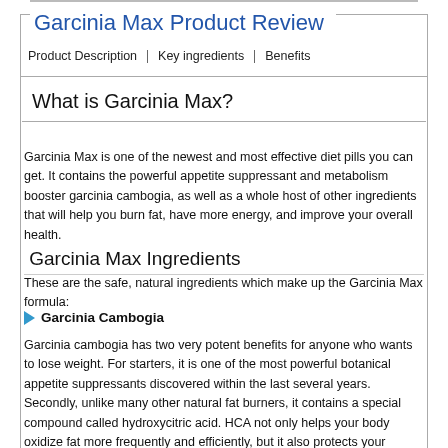Garcinia Max Product Review
Product Description | Key ingredients | Benefits
What is Garcinia Max?
Garcinia Max is one of the newest and most effective diet pills you can get. It contains the powerful appetite suppressant and metabolism booster garcinia cambogia, as well as a whole host of other ingredients that will help you burn fat, have more energy, and improve your overall health.
Garcinia Max Ingredients
These are the safe, natural ingredients which make up the Garcinia Max formula:
Garcinia Cambogia
Garcinia cambogia has two very potent benefits for anyone who wants to lose weight. For starters, it is one of the most powerful botanical appetite suppressants discovered within the last several years. Secondly, unlike many other natural fat burners, it contains a special compound called hydroxycitric acid. HCA not only helps your body oxidize fat more frequently and efficiently, but it also protects your against fatty liver disease.